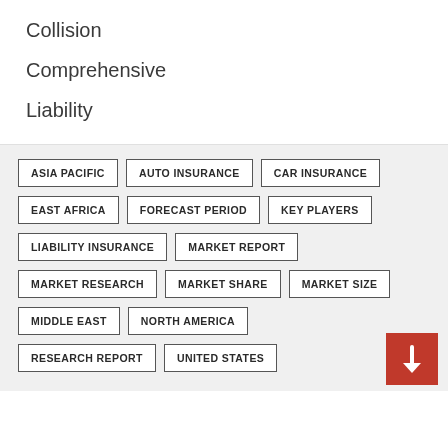Collision
Comprehensive
Liability
ASIA PACIFIC | AUTO INSURANCE | CAR INSURANCE | EAST AFRICA | FORECAST PERIOD | KEY PLAYERS | LIABILITY INSURANCE | MARKET REPORT | MARKET RESEARCH | MARKET SHARE | MARKET SIZE | MIDDLE EAST | NORTH AMERICA | RESEARCH REPORT | UNITED STATES